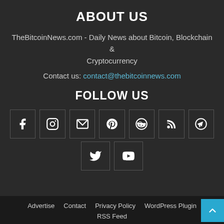ABOUT US
TheBitcoinNews.com - Daily News about Bitcoin, Blockchain & Cryptocurrency
Contact us: contact@thebitcoinnews.com
FOLLOW US
[Figure (infographic): Social media icon buttons: Facebook, Instagram, Email, Pinterest, Reddit, RSS, Telegram, Twitter, YouTube]
Advertise   Contact   Privacy Policy   WordPress Plugin   RSS Feed